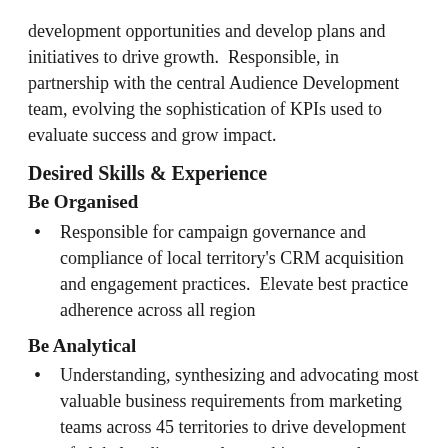development opportunities and develop plans and initiatives to drive growth.  Responsible, in partnership with the central Audience Development team, evolving the sophistication of KPIs used to evaluate success and grow impact.
Desired Skills & Experience
Be Organised
Responsible for campaign governance and compliance of local territory's CRM acquisition and engagement practices.  Elevate best practice adherence across all region
Be Analytical
Understanding, synthesizing and advocating most valuable business requirements from marketing teams across 45 territories to drive development of global audience tools to achieve growth targets. Be able to document, rationalize and defend